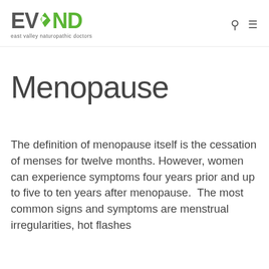EVND east valley naturopathic doctors
Menopause
The definition of menopause itself is the cessation of menses for twelve months. However, women can experience symptoms four years prior and up to five to ten years after menopause.  The most common signs and symptoms are menstrual irregularities, hot flashes and night sweats, insomnia, ...